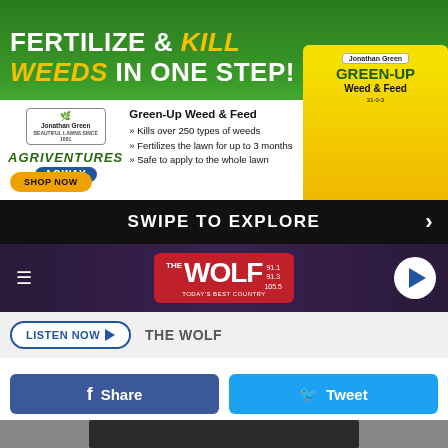[Figure (infographic): Jonathan Green Green-Up Weed & Feed advertisement banner. Green grass background. Text: FERTILIZE & KILL WEEDS IN ONE STEP! with a yellow product bag. Logos: Jonathan Green, Agriventures Agway. Bullet points: Kills over 250 types of weeds, Fertilizes the lawn for up to 3 months, Safe to apply to the whole lawn. SHOP NOW button.]
SWIPE TO EXPLORE
[Figure (logo): The Wolf radio station logo on dark purple/maroon bar with hamburger menu icon and play button]
LISTEN NOW ▶ THE WOLF
Share
Tweet